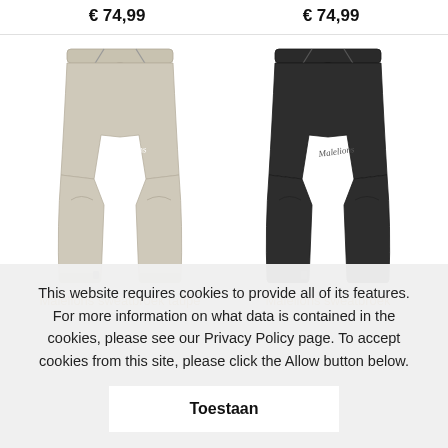€ 74,99
€ 74,99
[Figure (photo): Taupe/beige slim-fit sweatpants with drawstring waist, script logo on left thigh, ribbed cuffs]
[Figure (photo): Dark/black slim-fit sweatpants with drawstring waist, script logo on left thigh, ribbed cuffs]
Malelions sweatbroek taupe
Malelions sweatbroek
This website requires cookies to provide all of its features. For more information on what data is contained in the cookies, please see our Privacy Policy page. To accept cookies from this site, please click the Allow button below.
Toestaan